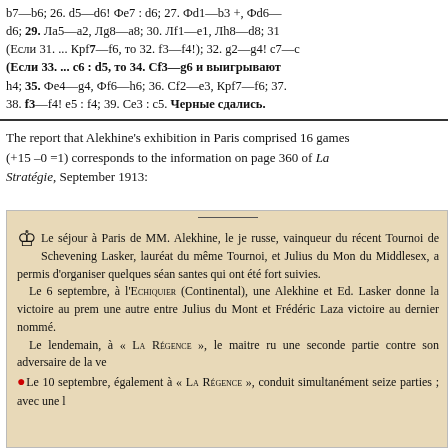b7—b6; 26. d5—d6! Фe7 : d6; 27. Фd1—b3 +, Фd6—d6; 29. Лa5—a2, Лg8—a8; 30. Лf1—e1, Лh8—d8; 31. (Если 31. ... Кpf7—f6, то 32. f3—f4!); 32. g2—g4! c7—c (Если 33. ... c6 : d5, то 34. Сf3—g6 и выигрывают h4; 35. Фe4—g4, Фf6—h6; 36. Сf2—e3, Кpf7—f6; 37. 38. f3—f4! e5 : f4; 39. Сe3 : c5. Черные сдались.
The report that Alekhine's exhibition in Paris comprised 16 games (+15 –0 =1) corresponds to the information on page 360 of La Stratégie, September 1913:
[Figure (other): Newspaper excerpt in French about Alekhine's visit to Paris, mentioning chess matches at l'Echiquier (Continental) and La Régence, September 1913.]